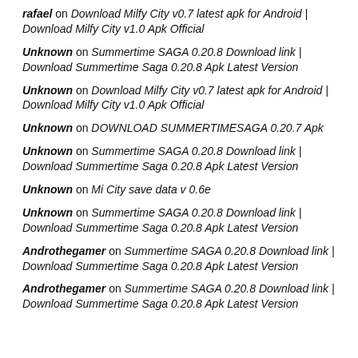rafael on Download Milfy City v0.7 latest apk for Android | Download Milfy City v1.0 Apk Official
Unknown on Summertime SAGA 0.20.8 Download link | Download Summertime Saga 0.20.8 Apk Latest Version
Unknown on Download Milfy City v0.7 latest apk for Android | Download Milfy City v1.0 Apk Official
Unknown on DOWNLOAD SUMMERTIMESAGA 0.20.7 Apk
Unknown on Summertime SAGA 0.20.8 Download link | Download Summertime Saga 0.20.8 Apk Latest Version
Unknown on Mi City save data v 0.6e
Unknown on Summertime SAGA 0.20.8 Download link | Download Summertime Saga 0.20.8 Apk Latest Version
Androthegamer on Summertime SAGA 0.20.8 Download link | Download Summertime Saga 0.20.8 Apk Latest Version
Androthegamer on Summertime SAGA 0.20.8 Download link | Download Summertime Saga 0.20.8 Apk Latest Version